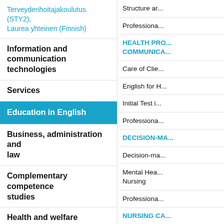Terveydenhoitajakoulutus (STY2), Laurea yhteinen (Finnish)
Information and communication technologies
Services
Education in English
Business, administration and law
Complementary competence studies
Health and welfare
Degree Programme in Nursing (SNF2), Laurea Lohja
Degree Programme in Nursing (SNV), Laurea Tikkurila
Structure ar...
Professiona...
HEALTH PRO... COMMUNICA...
Care of Clie...
English for H...
Initial Test i...
Professiona...
DECISION-MA...
Decision-ma...
Mental Hea... Nursing
Professiona...
NURSING CA...